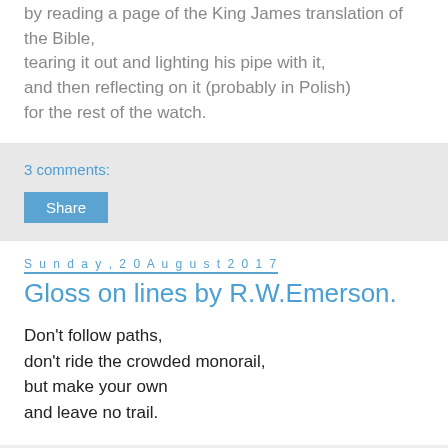by reading a page of the King James translation of the Bible, tearing it out and lighting his pipe with it, and then reflecting on it (probably in Polish) for the rest of the watch.
3 comments:
Share
Sunday, 20 August 2017
Gloss on lines by R.W.Emerson.
Don't follow paths,
don't ride the crowded monorail,
but make your own
and leave no trail.
No comments: